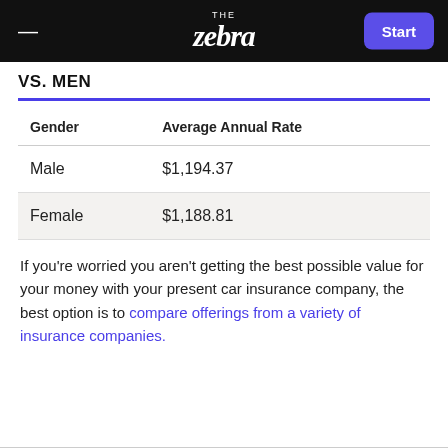THE zebra | Start
VS. MEN
| Gender | Average Annual Rate |
| --- | --- |
| Male | $1,194.37 |
| Female | $1,188.81 |
If you're worried you aren't getting the best possible value for your money with your present car insurance company, the best option is to compare offerings from a variety of insurance companies.